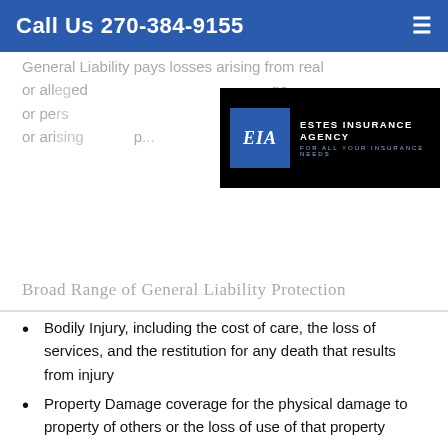Call Us 270-384-9155
General Liability pays losses arising from real or all... age, or pe... mises or ari... p...
[Figure (logo): Estes Insurance Agency logo — blue EIA box on black background with text 'ESTES INSURANCE AGENCY FOR ALL YOUR INSURANCE NEEDS']
Broad Range of General Liability Protection
Bodily Injury, including the cost of care, the loss of services, and the restitution for any death that results from injury
Property Damage coverage for the physical damage to property of others or the loss of use of that property
Products-Completed Operations provides liability protection (damages and legal expenses up to your policy's limit) if an injury ever resulted from something your company made or service your company provided
Products Liability is a more specialized